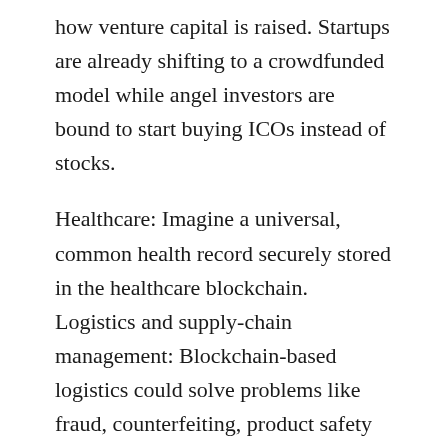how venture capital is raised. Startups are already shifting to a crowdfunded model while angel investors are bound to start buying ICOs instead of stocks.
Healthcare: Imagine a universal, common health record securely stored in the healthcare blockchain. Logistics and supply-chain management: Blockchain-based logistics could solve problems like fraud, counterfeiting, product safety and inventory management. Someday, blockchain supply chains may provide consumer purchase transparency, with perfect insight into the factory where your clothes were made, the person who made them and even whether the materials were ethically sourced.
Apps are constantly making implementation choices based on security, performance and programming language constraints. Choose this approach if: You have a broad, systems-oriented vision and want other people to build apps and services on your platform. Pros: You have creative